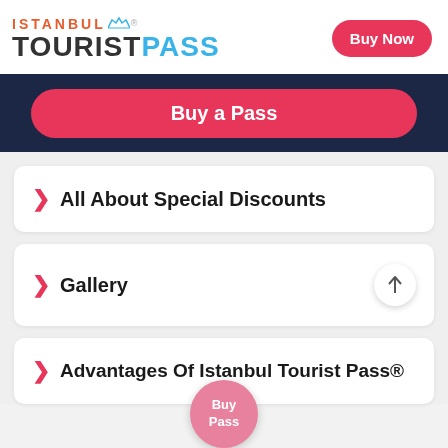[Figure (logo): Istanbul Tourist Pass logo with orange ISTANBUL text and blue PASS text, bridge graphic, and registered trademark symbol]
Buy Now
Buy a Pass
All About Special Discounts
Gallery
Advantages Of Istanbul Tourist Pass®
Buy Pass